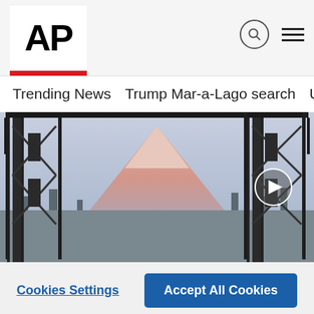[Figure (logo): AP (Associated Press) logo — black bold AP letters on white background with red bar below]
Trending News   Trump Mar-a-Lago search   U.S. Open Tennis
[Figure (photo): Photograph of a drawbridge with steel lattice towers framing a snow-capped mountain (Mount Rainier) in the background, with cityscape below]
We use cookies to personalize content and ads, to provide social media features and to analyze our traffic. We also share information about your use of our site with our social media, advertising and analytics partners. Privacy Policy
Cookies Settings
Accept All Cookies